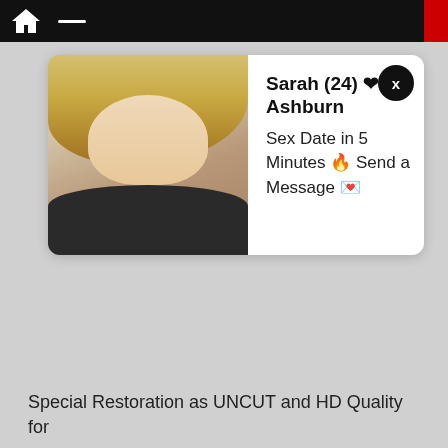[Figure (screenshot): A web browser popup advertisement showing a profile photo of a young blonde woman on the left, with text on the right reading 'Sarah (24) ❤ Ashburn' and 'Sex Date in 5 Minutes 🔥 Send a Message 💌', with a close (x) button. Below is a gray background, and at the bottom partial text: 'Special Restoration as UNCUT and HD Quality for']
Special Restoration as UNCUT and HD Quality for